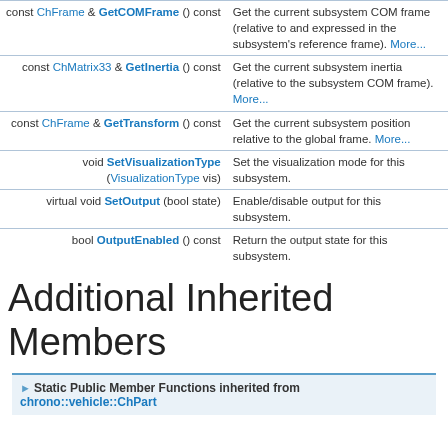| Return/Type | Function/Description |
| --- | --- |
| const ChFrame & GetCOMFrame () const | Get the current subsystem COM frame (relative to and expressed in the subsystem's reference frame). More... |
| const ChMatrix33 & GetInertia () const | Get the current subsystem inertia (relative to the subsystem COM frame). More... |
| const ChFrame & GetTransform () const | Get the current subsystem position relative to the global frame. More... |
| void SetVisualizationType (VisualizationType vis) | Set the visualization mode for this subsystem. |
| virtual void SetOutput (bool state) | Enable/disable output for this subsystem. |
| bool OutputEnabled () const | Return the output state for this subsystem. |
Additional Inherited Members
Static Public Member Functions inherited from chrono::vehicle::ChPart